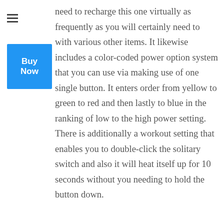need to recharge this one virtually as frequently as you will certainly need to with various other items. It likewise includes a color-coded power option system that you can use via making use of one single button. It enters order from yellow to green to red and then lastly to blue in the ranking of low to the high power setting. There is additionally a workout setting that enables you to double-click the solitary switch and also it will heat itself up for 10 seconds without you needing to hold the button down.